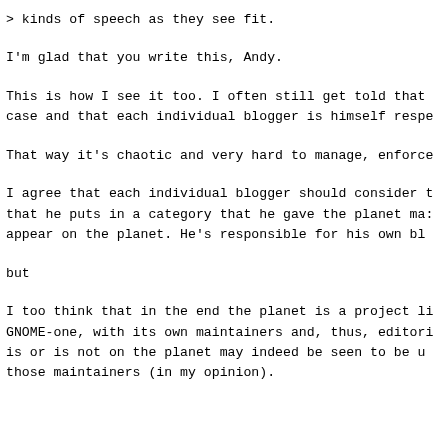> kinds of speech as they see fit.
I'm glad that you write this, Andy.
This is how I see it too. I often still get told that case and that each individual blogger is himself respo
That way it's chaotic and very hard to manage, enforce
I agree that each individual blogger should consider t that he puts in a category that he gave the planet ma: appear on the planet. He's responsible for his own bl
but
I too think that in the end the planet is a project li GNOME-one, with its own maintainers and, thus, editori is or is not on the planet may indeed be seen to be u those maintainers (in my opinion).